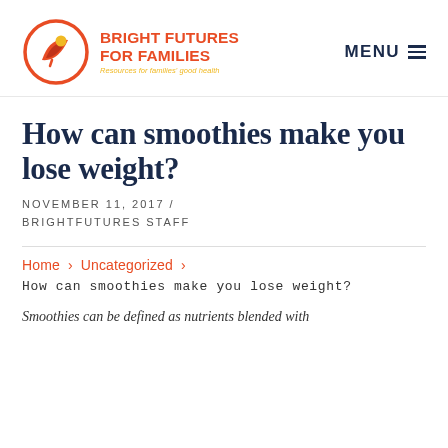BRIGHT FUTURES FOR FAMILIES — Resources for families' good health | MENU
How can smoothies make you lose weight?
NOVEMBER 11, 2017 / BRIGHTFUTURES STAFF
Home > Uncategorized > How can smoothies make you lose weight?
Smoothies can be defined as nutrients blended with